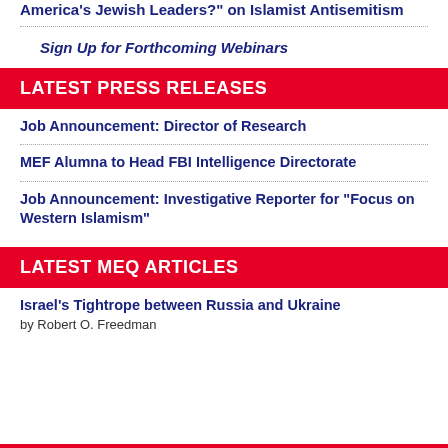Charles Jacobs Asks "Where Are America's Jewish Leaders?" on Islamist Antisemitism
Sign Up for Forthcoming Webinars
LATEST PRESS RELEASES
Job Announcement: Director of Research
MEF Alumna to Head FBI Intelligence Directorate
Job Announcement: Investigative Reporter for "Focus on Western Islamism"
LATEST MEQ ARTICLES
Israel's Tightrope between Russia and Ukraine
by Robert O. Freedman